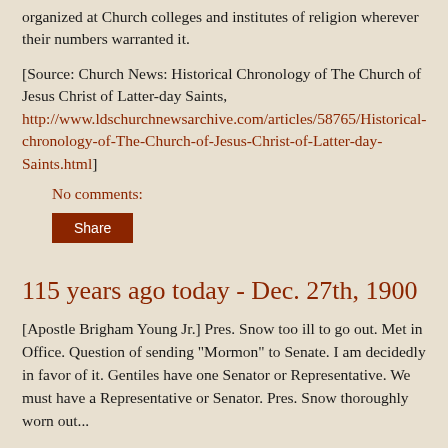organized at Church colleges and institutes of religion wherever their numbers warranted it.
[Source: Church News: Historical Chronology of The Church of Jesus Christ of Latter-day Saints, http://www.ldschurchnewsarchive.com/articles/58765/Historical-chronology-of-The-Church-of-Jesus-Christ-of-Latter-day-Saints.html]
No comments:
Share
115 years ago today - Dec. 27th, 1900
[Apostle Brigham Young Jr.] Pres. Snow too ill to go out. Met in Office. Question of sending "Mormon" to Senate. I am decidedly in favor of it. Gentiles have one Senator or Representative. We must have a Representative or Senator. Pres. Snow thoroughly worn out...